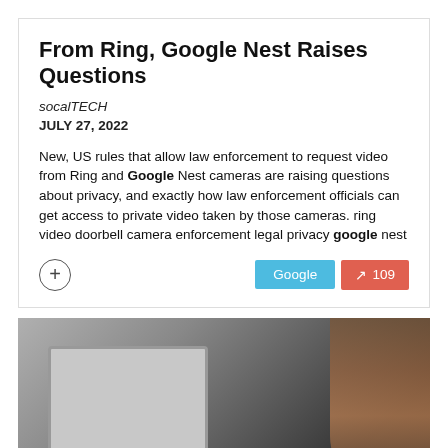Warrantless Requests For Video From Ring, Google Nest Raises Questions
socalTECH
JULY 27, 2022
New, US rules that allow law enforcement to request video from Ring and Google Nest cameras are raising questions about privacy, and exactly how law enforcement officials can get access to private video taken by those cameras. ring video doorbell camera enforcement legal privacy google nest
[Figure (photo): Photo of a person sitting behind a laptop in a dark environment, with blurred background.]